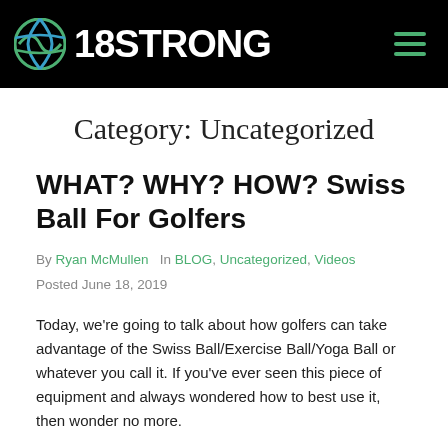18STRONG
Category: Uncategorized
WHAT? WHY? HOW? Swiss Ball For Golfers
By Ryan McMullen  In BLOG, Uncategorized, Videos
Posted June 18, 2019
Today, we're going to talk about how golfers can take advantage of the Swiss Ball/Exercise Ball/Yoga Ball or whatever you call it. If you've ever seen this piece of equipment and always wondered how to best use it, then wonder no more.